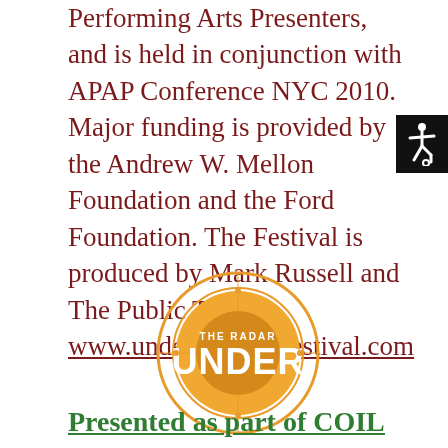Performing Arts Presenters, and is held in conjunction with APAP Conference NYC 2010. Major funding is provided by the Andrew W. Mellon Foundation and the Ford Foundation. The Festival is produced by Mark Russell and The Public Theater. www.undertheradarfestival.com
[Figure (logo): Under The Radar festival circular logo in orange/gold with crosshair circles and 'UNDER' text prominently displayed with 'THE RADAR' above]
Presented as part of COIL